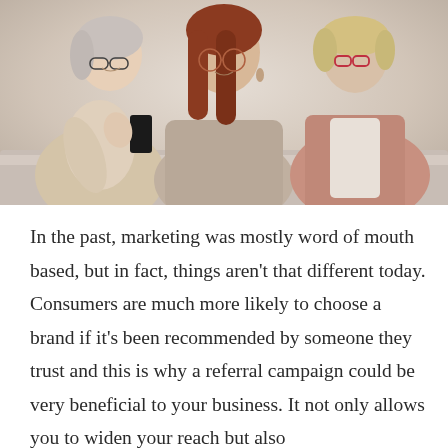[Figure (photo): Three older women sitting together, all wearing glasses. The woman on the left in a beige outfit is holding and showing a smartphone to the other two. The woman in the center has long red hair and wears a taupe top. The woman on the right has short blonde hair and wears a pink/salmon blazer. They appear to be looking at the phone screen together.]
In the past, marketing was mostly word of mouth based, but in fact, things aren't that different today. Consumers are much more likely to choose a brand if it's been recommended by someone they trust and this is why a referral campaign could be very beneficial to your business. It not only allows you to widen your reach but also